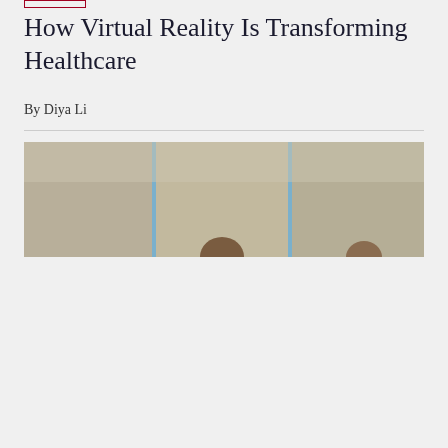How Virtual Reality Is Transforming Healthcare
By Diya Li
[Figure (photo): Photo of people in a room with blue-accented wall panels, heads visible at the bottom of the frame]
Cookie Notice
×
By clicking “Accept All”, you agree to the storing of cookies on your device to enhance site navigation, analyze site usage, and assist in our marketing efforts.
Review Settings   Accept All